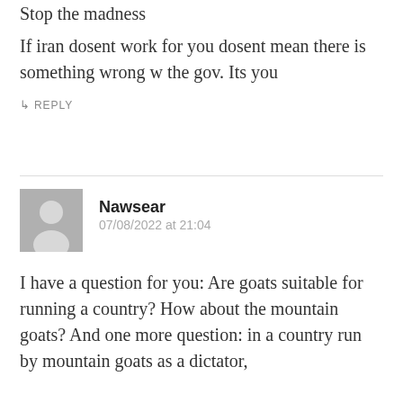Stop the madness
If iran dosent work for you dosent mean there is something wrong w the gov. Its you
↳ REPLY
Nawsear
07/08/2022 at 21:04
I have a question for you: Are goats suitable for running a country? How about the mountain goats? And one more question: in a country run by mountain goats as a dictator,